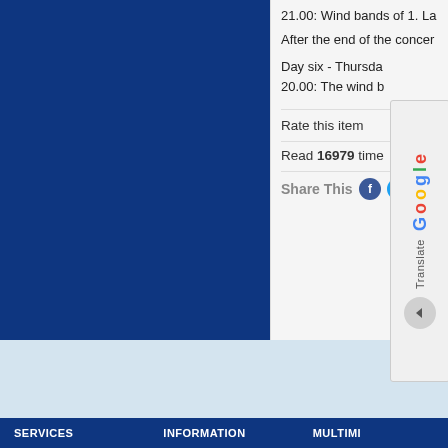[Figure (screenshot): Left dark blue panel occupying the left portion of the top section of a website screenshot]
21.00: Wind bands of 1. La After the end of the concer
Day six - Thursda 20.00: The wind b
Rate this item
Read 16979 time
Share This
[Figure (screenshot): Google Translate widget overlay showing Google logo text vertically and Translate label with an arrow button]
SERVICES   INFORMATION   MULTIMI